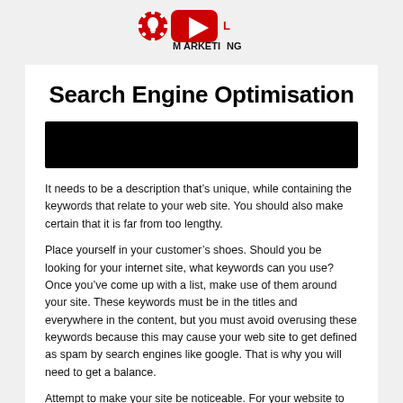[Figure (logo): Logo with lightbulb/gear icon and YouTube play button icon with partial text 'M...NG' (Digital Marketing brand logo)]
Search Engine Optimisation
[Figure (other): Black rectangular bar (likely a redacted or placeholder image/video thumbnail)]
It needs to be a description that’s unique, while containing the keywords that relate to your web site. You should also make certain that it is far from too lengthy.
Place yourself in your customer’s shoes. Should you be looking for your internet site, what keywords can you use? Once you’ve come up with a list, make use of them around your site. These keywords must be in the titles and everywhere in the content, but you must avoid overusing these keywords because this may cause your web site to get defined as spam by search engines like google. That is why you will need to get a balance.
Attempt to make your site be noticeable. For your website to be popular and also have a solid reader base, implement the